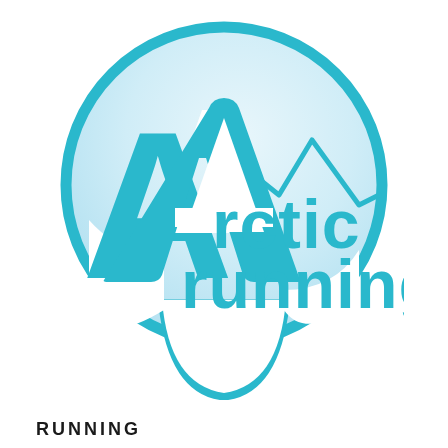[Figure (logo): Arctic Running logo: a circular badge with teal/cyan outline containing a light blue gradient background with a mountain silhouette line. A large stylized 'A' on the left and the text 'rctic' and 'running' in teal rounded font fill the center. The bottom of the circle has a curved cutout forming a teardrop/location-pin shape.]
RUNNING